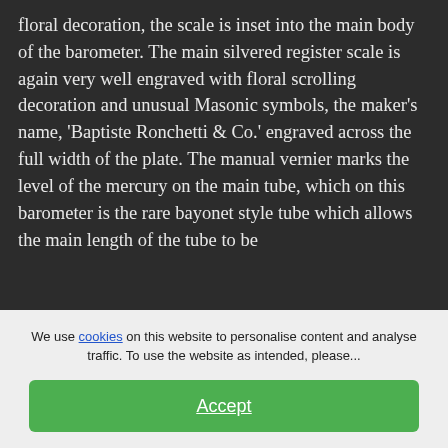floral decoration, the scale is inset into the main body of the barometer. The main silvered register scale is again very well engraved with floral scrolling decoration and unusual Masonic symbols, the maker's name, 'Baptiste Ronchetti & Co.' engraved across the full width of the plate. The manual vernier marks the level of the mercury on the main tube, which on this barometer is the rare bayonet style tube which allows the main length of the tube to be concealed and by bending it then bringing the
We use cookies on this website to personalise content and analyse traffic. To use the website as intended, please...
Accept